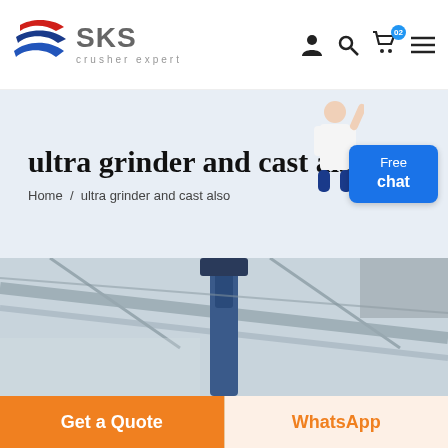[Figure (logo): SKS crusher expert logo with red and blue swoosh icon and grey SKS text]
ultra grinder and cast also
Home / ultra grinder and cast also
[Figure (photo): Industrial machinery photo showing what appears to be overhead equipment/crane in a factory setting]
Get a Quote
WhatsApp